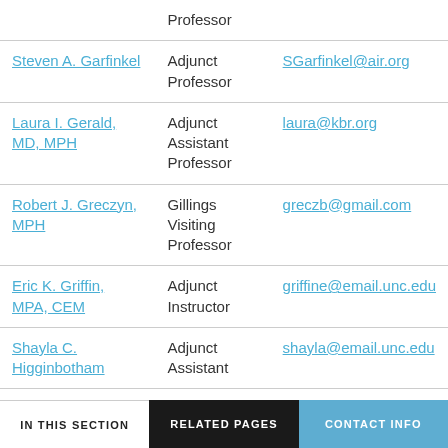| Name | Title | Email |
| --- | --- | --- |
| (continued) | Professor |  |
| Steven A. Garfinkel | Adjunct Professor | SGarfinkel@air.org |
| Laura I. Gerald, MD, MPH | Adjunct Assistant Professor | laura@kbr.org |
| Robert J. Greczyn, MPH | Gillings Visiting Professor | greczb@gmail.com |
| Eric K. Griffin, MPA, CEM | Adjunct Instructor | griffine@email.unc.edu |
| Shayla C. Higginbotham | Adjunct Assistant | shayla@email.unc.edu |
IN THIS SECTION   RELATED PAGES   CONTACT INFO